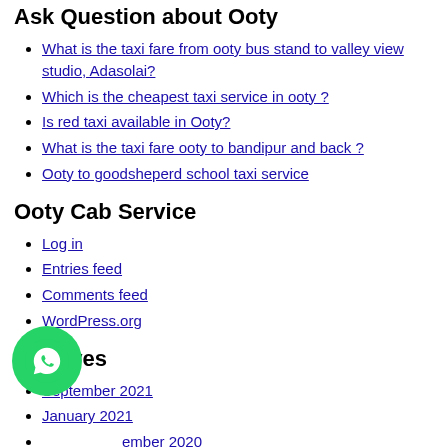Ask Question about Ooty
What is the taxi fare from ooty bus stand to valley view studio, Adasolai?
Which is the cheapest taxi service in ooty ?
Is red taxi available in Ooty?
What is the taxi fare ooty to bandipur and back ?
Ooty to goodsheperd school taxi service
Ooty Cab Service
Log in
Entries feed
Comments feed
WordPress.org
Archives
September 2021
January 2021
November 2020
Categories
[Figure (illustration): WhatsApp chat button (green circle with phone/chat icon)]